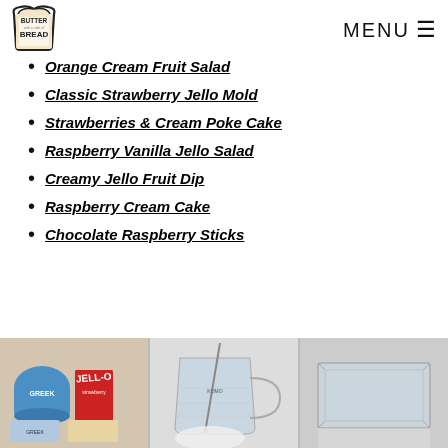BUTTER WITH A SIDE OF BREAD | MENU
Orange Cream Fruit Salad
Classic Strawberry Jello Mold
Strawberries & Cream Poke Cake
Raspberry Vanilla Jello Salad
Creamy Jello Fruit Dip
Raspberry Cream Cake
Chocolate Raspberry Sticks
[Figure (photo): Three-panel food photo strip: left panel shows Greek yogurt cup and Jello box with other ingredients, center panel shows glass measuring cups and mixing implements, right panel shows a clear glass baking dish]